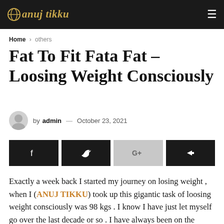anuj tikku
Home › others
Fat To Fit Fata Fat – Loosing Weight Consciously
by admin — October 23, 2021
[Figure (other): Social share buttons: Facebook, Twitter, Google+, Share]
Exactly a week back I started my journey on losing weight , when I (ANUJ TIKKU) took up this gigantic task of loosing weight consciously was 98 kgs . I know I have just let myself go over the last decade or so . I have always been on the chubby side since my